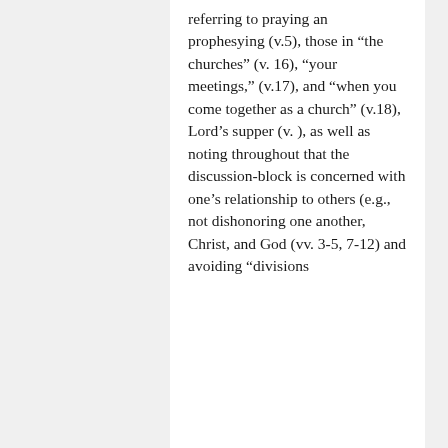referring to praying an prophesying (v.5), those in “the churches” (v. 16), “your meetings,” (v.17), and “when you come together as a church” (v.18), Lord’s supper (v. ), as well as noting throughout that the discussion-block is concerned with one’s relationship to others (e.g., not dishonoring one another, Christ, and God (vv. 3-5, 7-12) and avoiding “divisions